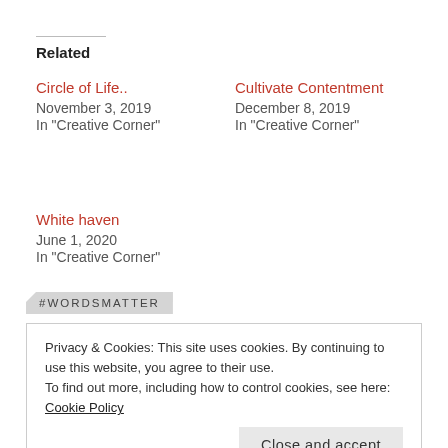Related
Circle of Life..
November 3, 2019
In "Creative Corner"
Cultivate Contentment
December 8, 2019
In "Creative Corner"
White haven
June 1, 2020
In "Creative Corner"
#WORDSMATTER
Privacy & Cookies: This site uses cookies. By continuing to use this website, you agree to their use.
To find out more, including how to control cookies, see here: Cookie Policy
Close and accept